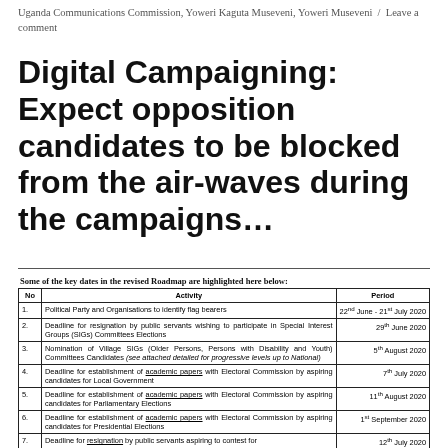Uganda Communications Commission, Yoweri Kaguta Museveni, Yoweri Museveni / Leave a comment
Digital Campaigning: Expect opposition candidates to be blocked from the air-waves during the campaigns…
Some of the key dates in the revised Roadmap are highlighted here below:
| No | Activity | Period |
| --- | --- | --- |
| 1. | Political Party and Organisations to identify flag bearers | 22nd June - 21st July 2020 |
| 2. | Deadline for resignation by public servants wishing to participate in Special Interest Groups (SIGs) Committees Elections | 29th June 2020 |
| 3. | Nomination of Village SIGs (Older Persons, Persons with Disability and Youth) Committees Candidates (see attached detailed for progressive levels up to National) | 5th August 2020 |
| 4. | Deadline for establishment of academic papers with Electoral Commission by aspiring candidates for Local Government | 7th July 2020 |
| 5. | Deadline for establishment of academic papers with Electoral Commission by aspiring candidates for Parliamentary Elections | 11th August 2020 |
| 6. | Deadline for establishment of academic papers with Electoral Commission by aspiring candidates for Presidential Elections | 1st September 2020 |
| 7. | Deadline for resignation by public servants aspiring to contest for | 12th July 2020 |